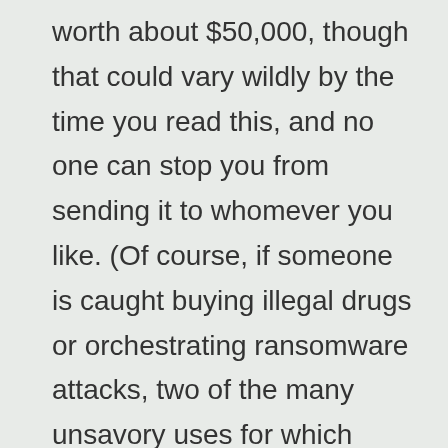worth about $50,000, though that could vary wildly by the time you read this, and no one can stop you from sending it to whomever you like. (Of course, if someone is caught buying illegal drugs or orchestrating ransomware attacks, two of the many unsavory uses for which cryptocurrency has proved